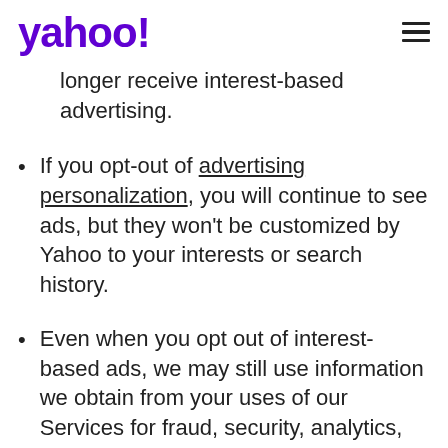yahoo!
longer receive interest-based advertising.
If you opt-out of advertising personalization, you will continue to see ads, but they won't be customized by Yahoo to your interests or search history.
Even when you opt out of interest-based ads, we may still use information we obtain from your uses of our Services for fraud, security, analytics, research, Services innovation and improvement, and attribution